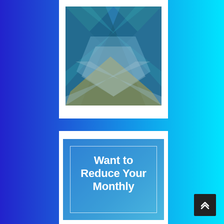[Figure (illustration): Abstract geometric pattern with overlapping diagonal shapes in blue, teal, and golden/tan colors forming an X or chevron pattern on a white card background]
[Figure (illustration): Blue gradient card with inner white border containing bold white text reading 'Want to Reduce Your Monthly']
Want to Reduce Your Monthly